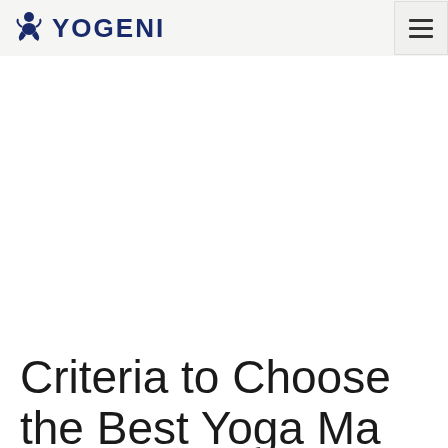YOGENI
Criteria to Choose the Best Yoga Mat